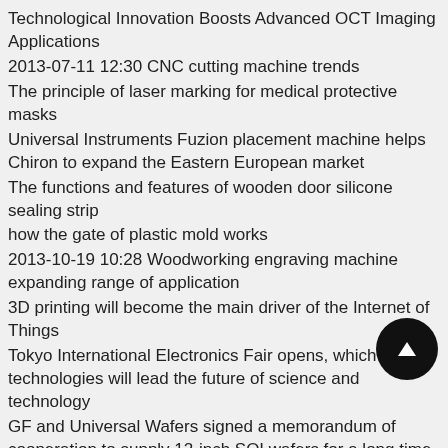Technological Innovation Boosts Advanced OCT Imaging Applications
2013-07-11 12:30 CNC cutting machine trends
The principle of laser marking for medical protective masks
Universal Instruments Fuzion placement machine helps Chiron to expand the Eastern European market
The functions and features of wooden door silicone sealing strip
how the gate of plastic mold works
2013-10-19 10:28 Woodworking engraving machine expanding range of application
3D printing will become the main driver of the Internet of Things
Tokyo International Electronics Fair opens, which technologies will lead the future of science and technology
GF and Universal Wafers signed a memorandum of cooperation to supply 12-inch SOI wafers for a long time in the future